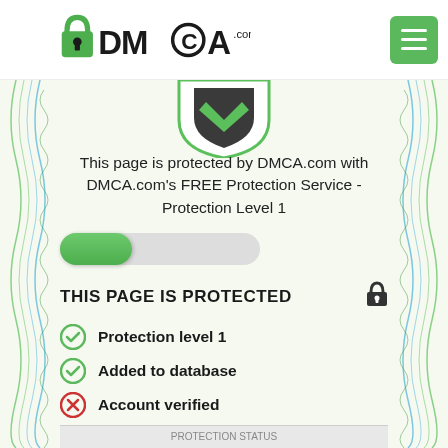[Figure (logo): DMCA.com logo with padlock icon and circular trademark symbol]
[Figure (illustration): Green and dark shield icon at top of certificate]
This page is protected by DMCA.com with DMCA.com's FREE Protection Service - Protection Level 1
[Figure (infographic): Green toggle/slider bar indicating partial protection level]
THIS PAGE IS PROTECTED
Protection level 1
Added to database
Account verified
Domain ownership verified